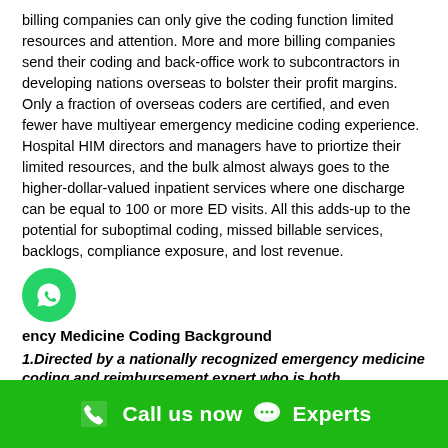billing companies can only give the coding function limited resources and attention. More and more billing companies send their coding and back-office work to subcontractors in developing nations overseas to bolster their profit margins. Only a fraction of overseas coders are certified, and even fewer have multiyear emergency medicine coding experience. Hospital HIM directors and managers have to priortize their limited resources, and the bulk almost always goes to the higher-dollar-valued inpatient services where one discharge can be equal to 100 or more ED visits. All this adds-up to the potential for suboptimal coding, missed billable services, backlogs, compliance exposure, and lost revenue.
Emergency Medicine Coding Background
1.Directed by a nationally recognized emergency medicine coding and reimbursement expert who is both
Call us now  Experts